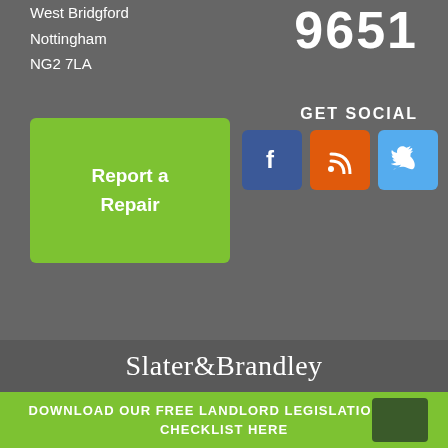West Bridgford
Nottingham
NG2 7LA
9651
GET SOCIAL
[Figure (infographic): Green button with text 'Report a Repair']
[Figure (infographic): Three social media icon boxes: Facebook (blue), RSS (orange), Twitter (light blue)]
Slater&Brandley
DOWNLOAD OUR FREE LANDLORD LEGISLATION 2022 CHECKLIST HERE